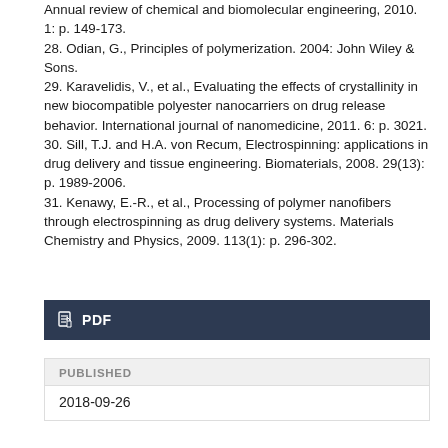Annual review of chemical and biomolecular engineering, 2010. 1: p. 149-173.
28. Odian, G., Principles of polymerization. 2004: John Wiley & Sons.
29. Karavelidis, V., et al., Evaluating the effects of crystallinity in new biocompatible polyester nanocarriers on drug release behavior. International journal of nanomedicine, 2011. 6: p. 3021.
30. Sill, T.J. and H.A. von Recum, Electrospinning: applications in drug delivery and tissue engineering. Biomaterials, 2008. 29(13): p. 1989-2006.
31. Kenawy, E.-R., et al., Processing of polymer nanofibers through electrospinning as drug delivery systems. Materials Chemistry and Physics, 2009. 113(1): p. 296-302.
PDF
PUBLISHED
2018-09-26